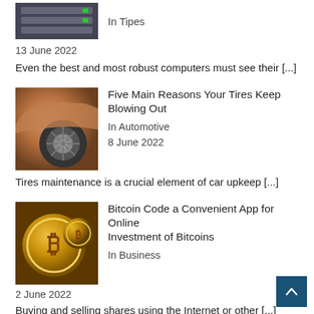[Figure (photo): Server/computer equipment image (partially visible at top)]
In Tipes
13 June 2022
Even the best and most robust computers must see their [...]
[Figure (photo): Car tire/wheel close-up image]
Five Main Reasons Your Tires Keep Blowing Out
In Automotive
8 June 2022
Tires maintenance is a crucial element of car upkeep [...]
[Figure (photo): Bitcoin gold coins image]
Bitcoin Code a Convenient App for Online Investment of Bitcoins
In Business
2 June 2022
Buying and selling shares using the Internet or other [...]
[Figure (photo): Quantum/technology blue image (partially visible)]
Quantum AI Unknown Facts